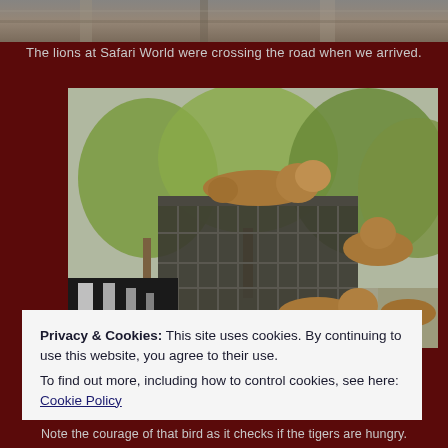[Figure (photo): Top portion of a photo showing rocky/stone textured surface, cropped at top of page]
The lions at Safari World were crossing the road when we arrived.
[Figure (photo): Lions climbing on and around a large cage/crate on a vehicle at Safari World, with trees in background]
Privacy & Cookies: This site uses cookies. By continuing to use this website, you agree to their use.
To find out more, including how to control cookies, see here: Cookie Policy
Close and accept
Note the courage of that bird as it checks if the tigers are hungry.